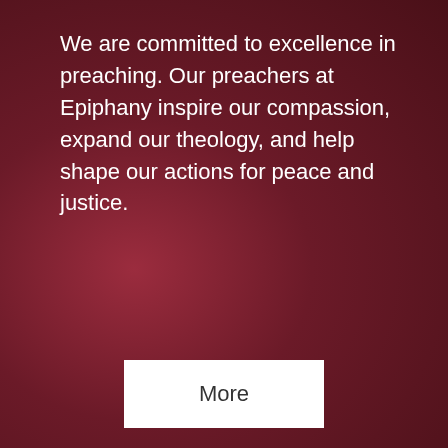We are committed to excellence in preaching. Our preachers at Epiphany inspire our compassion, expand our theology, and help shape our actions for peace and justice.
More
[Figure (other): Music note icon (white musical note symbol)]
Music Notes
At the Parish of the Epiphany, music speaks to us at the root of our souls. Our music program boasts a long-standing reputation